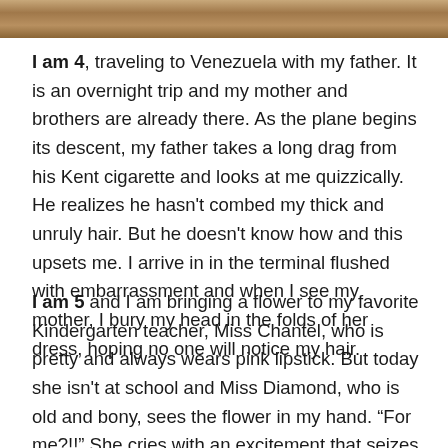[Figure (photo): Partial photograph strip at top of page showing an outdoor scene with warm earth tones]
I am 4, traveling to Venezuela with my father. It is an overnight trip and my mother and brothers are already there. As the plane begins its descent, my father takes a long drag from his Kent cigarette and looks at me quizzically. He realizes he hasn't combed my thick and unruly hair. But he doesn't know how and this upsets me. I arrive in in the terminal flushed with embarrassment and when I see my mother, I bury my head in the folds of her dress, hoping no one will notice my hair.
I am 5 and I am bringing a flower to my favorite Kindergarten teacher, Miss Chantel, who is pretty and always wears pink lipstick. But today she isn't at school and Miss Diamond, who is old and bony, sees the flower in my hand. “For me?!!” She cries with an excitement that seizes my heart and leaves me speechless. Crestfallen, I